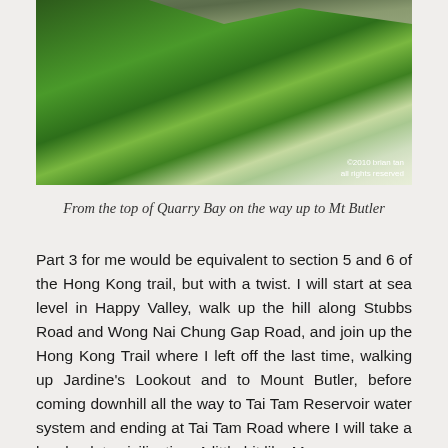[Figure (photo): Aerial/elevated view of lush green forested hillside in misty conditions, looking toward Mount Butler from the top of Quarry Bay, Hong Kong. Rocky outcrops visible at top. Copyright watermark reads '©2010 brian tan / all rights reserved'.]
From the top of Quarry Bay on the way up to Mt Butler
Part 3 for me would be equivalent to section 5 and 6 of the Hong Kong trail, but with a twist. I will start at sea level in Happy Valley, walk up the hill along Stubbs Road and Wong Nai Chung Gap Road, and join up the Hong Kong Trail where I left off the last time, walking up Jardine's Lookout and to Mount Butler, before coming downhill all the way to Tai Tam Reservoir water system and ending at Tai Tam Road where I will take a bus back to civilization. A little bit like Man vs